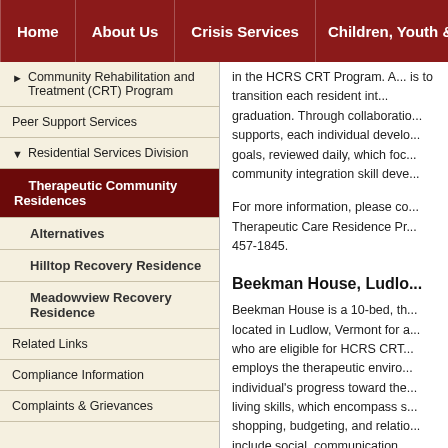Home | About Us | Crisis Services | Children, Youth &
Community Rehabilitation and Treatment (CRT) Program
Peer Support Services
Residential Services Division
Therapeutic Community Residences (active)
Alternatives
Hilltop Recovery Residence
Meadowview Recovery Residence
Related Links
Compliance Information
Complaints & Grievances
in the HCRS CRT Program. ... is to transition each resident int... graduation. Through collaboratio... supports, each individual develo... goals, reviewed daily, which foc... community integration skill deve...
For more information, please co... Therapeutic Care Residence Pr... 457-1845.
Beekman House, Ludlo...
Beekman House is a 10-bed, th... located in Ludlow, Vermont for a... who are eligible for HCRS CRT... employs the therapeutic enviro... individual's progress toward the... living skills, which encompass s... shopping, budgeting, and relatio... include social, communication...